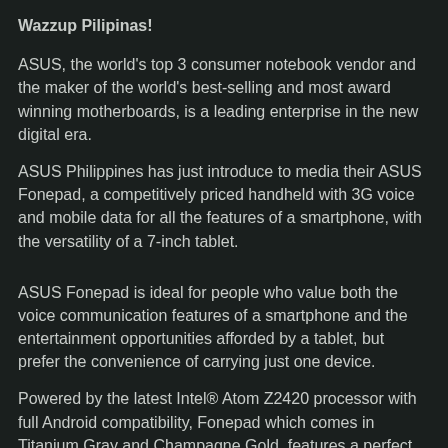Wazzup Pilipinas!
ASUS, the world's top 3 consumer notebook vendor and the maker of the world's best-selling and most award winning motherboards, is a leading enterprise in the new digital era.
ASUS Philippines has just introduce to media their ASUS Fonepad, a competitively priced handheld with 3G voice and mobile data for all the features of a smartphone, with the versatility of a 7-inch tablet.
ASUS Fonepad is ideal for people who value both the voice communication features of a smartphone and the entertainment opportunities afforded by a tablet, but prefer the convenience of carrying just one device.
Powered by the latest Intel® Atom Z2420 processor with full Android compatibility, Fonepad which comes in Titanium Gray and Champagne Gold, features a perfect balance of performance and energy efficiency, with hardware-accelerated 1080p Full HD video decoding. The 7-inch